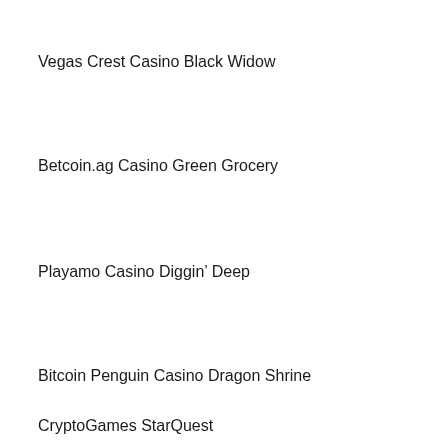Vegas Crest Casino Black Widow
Betcoin.ag Casino Green Grocery
Playamo Casino Diggin’ Deep
Bitcoin Penguin Casino Dragon Shrine
CryptoGames StarQuest